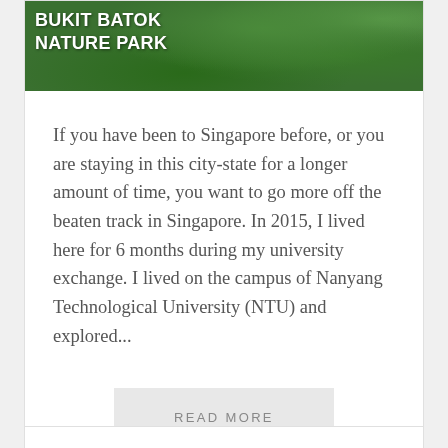[Figure (photo): Bukit Batok Nature Park sign against green forest foliage background]
If you have been to Singapore before, or you are staying in this city-state for a longer amount of time, you want to go more off the beaten track in Singapore. In 2015, I lived here for 6 months during my university exchange. I lived on the campus of Nanyang Technological University (NTU) and explored...
READ MORE